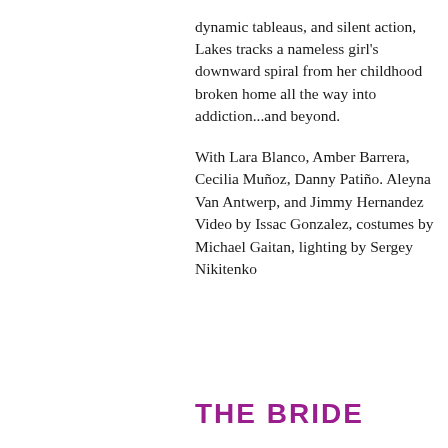dynamic tableaus, and silent action, Lakes tracks a nameless girl's downward spiral from her childhood broken home all the way into addiction...and beyond.
With Lara Blanco, Amber Barrera, Cecilia Muñoz, Danny Patiño. Aleyna Van Antwerp, and Jimmy Hernandez
Video by Issac Gonzalez, costumes by Michael Gaitan, lighting by Sergey Nikitenko
THE BRIDE